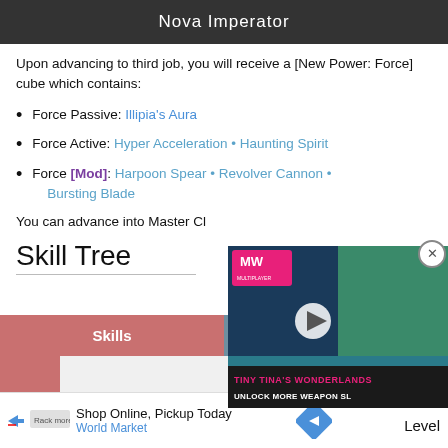Nova Imperator
Upon advancing to third job, you will receive a [New Power: Force] cube which contains:
Force Passive: Illipia's Aura
Force Active: Hyper Acceleration • Haunting Spirit
Force [Mod]: Harpoon Spear • Revolver Cannon • Bursting Blade
You can advance into Master Cl...
Skill Tree
[Figure (screenshot): Video advertisement for Tiny Tina's Wonderlands: Unlock More Weapon Sl...]
| Skills | Passives |
| --- | --- |
[Figure (screenshot): Advertisement banner: Shop Online, Pickup Today - World Market with navigation arrow icon]
Level